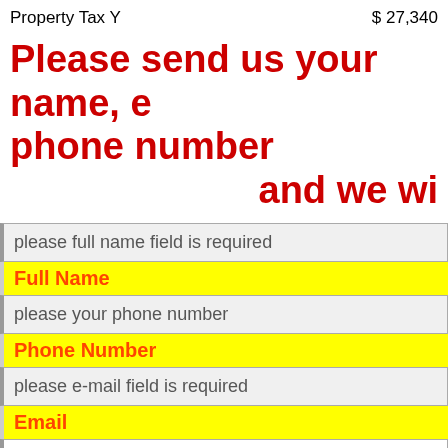Property Tax Y
$ 27,340
Please send us your name, e… phone number
and we wi…
please full name field is required
Full Name
please your phone number
Phone Number
please e-mail field is required
Email
United States
Country